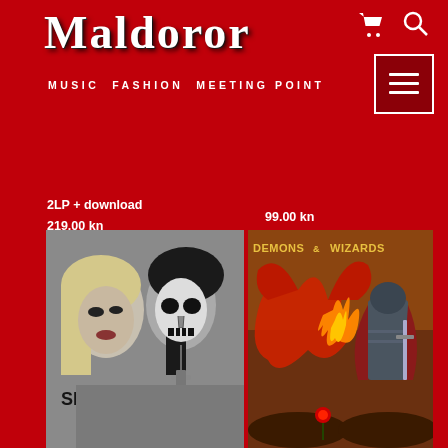Maldoror
MUSIC  FASHION  MEETING POINT
2LP + download
219.00 kn
99.00 kn
[Figure (photo): Album cover: Skeletons - black and white photo of a blonde woman and a man with skull face paint, man wearing a cross necklace]
[Figure (photo): Album cover: Demons & Wizards - fantasy artwork with dragons and a warrior with fire]